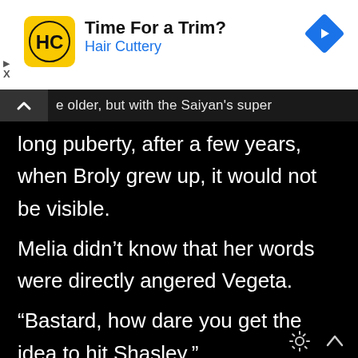[Figure (screenshot): Hair Cuttery advertisement banner with yellow logo icon showing 'HC', text 'Time For a Trim?' and 'Hair Cuttery' in blue, and a blue diamond arrow icon on the right.]
e older, but with the Saiyan's super long puberty, after a few years, when Broly grew up, it would not be visible.
Melia didn't know that her words were directly angered Vegeta.
“Bastard, how dare you get the idea to hit Shasley.”